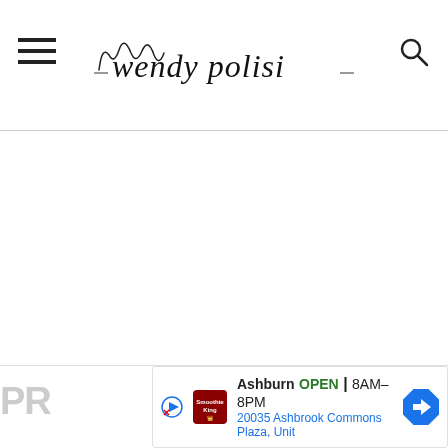wendy polisi — blog logo with hamburger menu and search icon
[Figure (screenshot): Blank white content area below the header]
[Figure (other): Advertisement bar at bottom: Smoothie King Ashburn OPEN 8AM-8PM 20035 Ashbrook Commons Plaza, Unit]